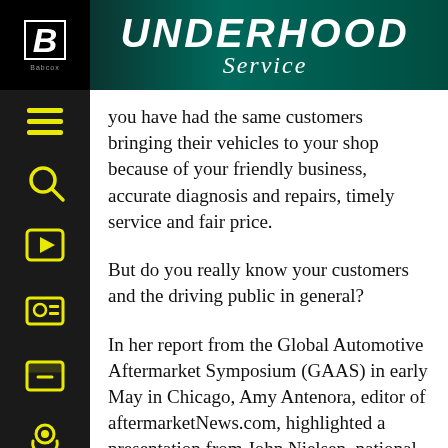UNDERHOOD Service
you have had the same customers bringing their vehicles to your shop because of your friendly business, accurate diagnosis and repairs, timely service and fair price.
But do you really know your customers and the driving public in general?
In her report from the Global Automotive Aftermarket Symposium (GAAS) in early May in Chicago, Amy Antenora, editor of aftermarketNews.com, highlighted a presentation from John Nielsen, national director of AAA, on the typical AAA member and their vehicular habits.